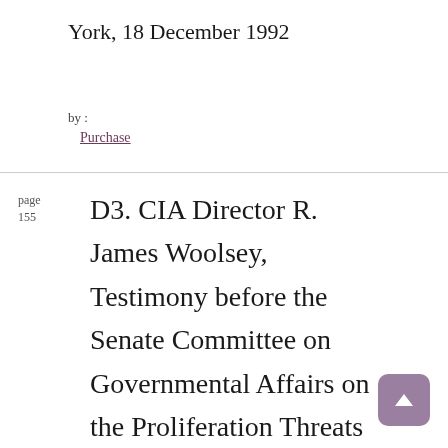York, 18 December 1992
by : Purchase
page
155
D3. CIA Director R. James Woolsey, Testimony before the Senate Committee on Governmental Affairs on the Proliferation Threats of the 1990s, Washington, D.C., 24 February 1993 (excerpts)